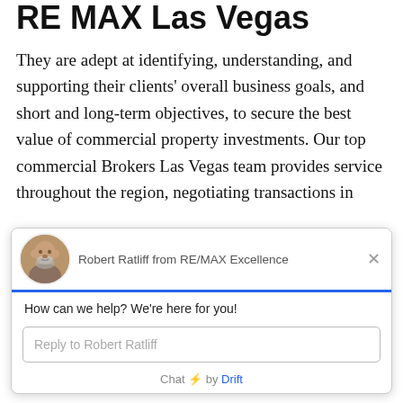RE MAX Las Vegas
They are adept at identifying, understanding, and supporting their clients' overall business goals, and short and long-term objectives, to secure the best value of commercial property investments. Our top commercial Brokers Las Vegas team provides service throughout the region, negotiating transactions in
[Figure (screenshot): Chat widget popup from Robert Ratliff of RE/MAX Excellence with message 'How can we help? We're here for you!' and a reply input box. Footer reads 'Chat ⚡ by Drift'.]